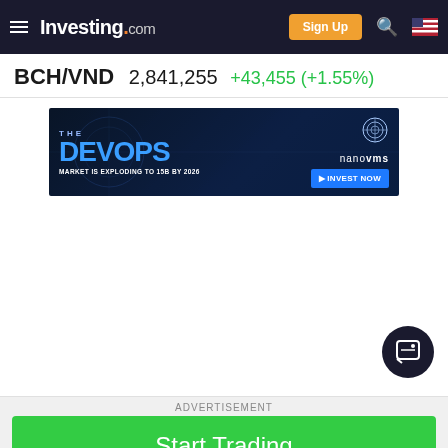Investing.com — Sign Up
BCH/VND  2,841,255  +43,455 (+1.55%)
[Figure (screenshot): Advertisement banner for NanoVMS DevOps investment. Text reads: THE DEVOPS MARKET IS EXPLODING TO 15B BY 2026. Right side shows nanovms logo and INVEST NOW button.]
[Figure (infographic): Chat support button (dark circle with chat icon) in bottom-right of content area.]
ADVERTISEMENT
[Figure (screenshot): Green Start Trading button advertisement. Text: Start Trading | AD |]